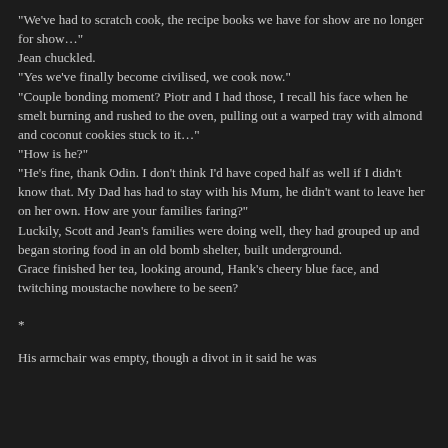"We've had to scratch cook, the recipe books we have for show are no longer for show…"
Jean chuckled.
"Yes we've finally become civilised, we cook now."
"Couple bonding moment? Piotr and I had those, I recall his face when he smelt burning and rushed to the oven, pulling out a warped tray with almond and coconut cookies stuck to it…"
"How is he?"
"He's fine, thank Odin. I don't think I'd have coped half as well if I didn't know that. My Dad has had to stay with his Mum, he didn't want to leave her on her own. How are your families faring?"
Luckily, Scott and Jean's families were doing well, they had grouped up and began storing food in an old bomb shelter, built underground.
Grace finished her tea, looking around, Hank's cheery blue face, and twitching moustache nowhere to be seen?
*
His armchair was empty, though a divot in it said he was